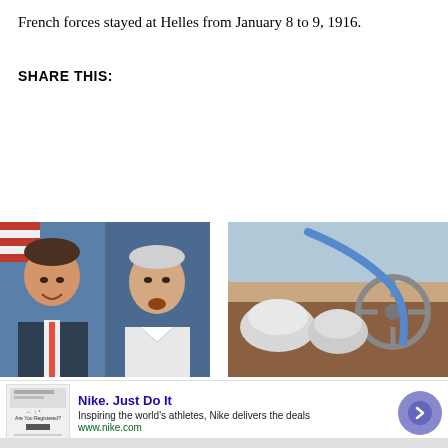French forces stayed at Helles from January 8 to 9, 1916.
SHARE THIS:
[Figure (photo): Two side-by-side portrait photos of politicians, one younger man with an American flag in background, one older man speaking]
[Figure (photo): Interior of a futuristic autonomous vehicle with steering wheel and white pod seats]
Nike. Just Do It
Inspiring the world's athletes, Nike delivers the deals
www.nike.com